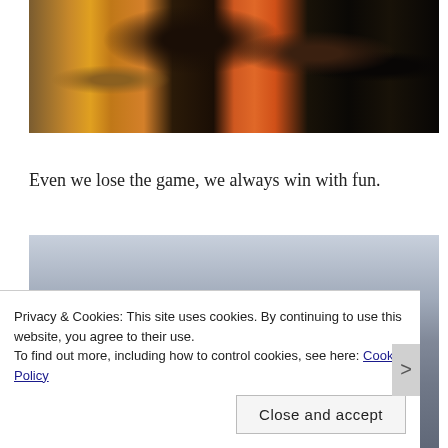[Figure (photo): A child in an orange shirt viewed from behind, playing at an arcade game machine with colorful graphics. Two adults are visible on either side.]
Even we lose the game, we always win with fun.
[Figure (photo): Partially visible photo showing people with items on a table, appears to be a restaurant or food setting.]
Privacy & Cookies: This site uses cookies. By continuing to use this website, you agree to their use.
To find out more, including how to control cookies, see here: Cookie Policy